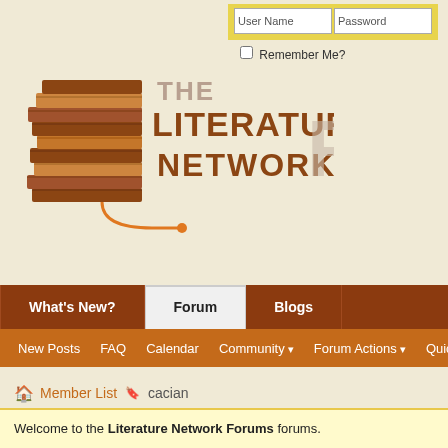[Figure (logo): The Literature Network Forums logo with stack of books and orange/brown text]
What's New? | Forum | Blogs
New Posts | FAQ | Calendar | Community ▾ | Forum Actions ▾ | Quick Links ▾
🏠 Member List 🔖 cacian
Welcome to the Literature Network Forums forums. You are currently viewing our boards as a guest which gives you limited access our other features. By joining our free community you will have access to post privately with other members (PM), respond to polls, upload content and more. Registration is fast, simple and absolutely free so please, join our community! If you have any problems with the registration process or your account login,